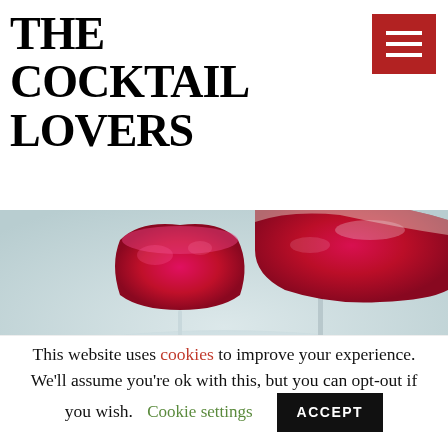THE COCKTAIL LOVERS
[Figure (photo): Two red cocktail drinks in coupe glasses on a white plate/tray, close-up photograph]
This website uses cookies to improve your experience. We'll assume you're ok with this, but you can opt-out if you wish.
Cookie settings  ACCEPT